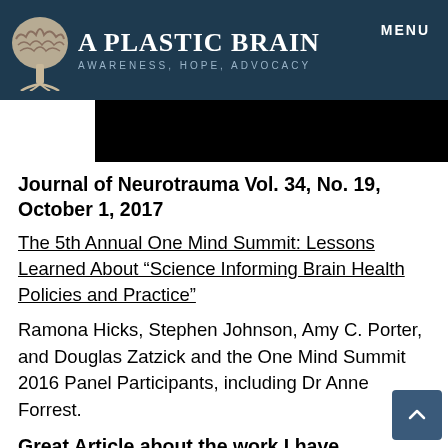A PLASTIC BRAIN AWARENESS, HOPE, ADVOCACY | MENU
[Figure (other): Black image banner below header]
Journal of Neurotrauma Vol. 34, No. 19, October 1, 2017
The 5th Annual One Mind Summit: Lessons Learned About “Science Informing Brain Health Policies and Practice”
Ramona Hicks, Stephen Johnson, Amy C. Porter, and Douglas Zatzick and the One Mind Summit 2016 Panel Participants, including Dr Anne Forrest.
Great Article about the work I have